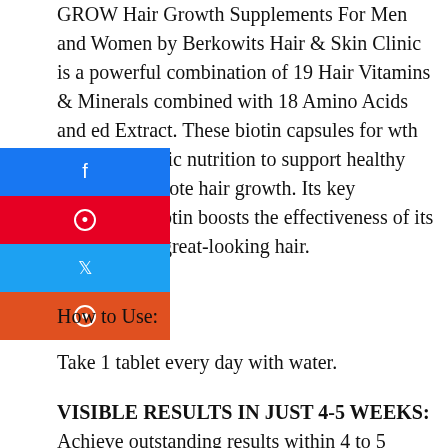GROW Hair Growth Supplements For Men and Women by Berkowits Hair & Skin Clinic is a powerful combination of 19 Hair Vitamins & Minerals combined with 18 Amino Acids and ed Extract. These biotin capsules for wth provide holistic nutrition to support healthy hair and promote hair growth. Its key ingredient Biotin boosts the effectiveness of its ts to achieve great-looking hair.
[Figure (infographic): Social sharing buttons: Facebook (blue), Pinterest (red), Twitter (light blue), Reddit (orange-red)]
How to Use:
Take 1 tablet every day with water.
VISIBLE RESULTS IN JUST 4-5 WEEKS:
Achieve outstanding results within 4 to 5 weeks